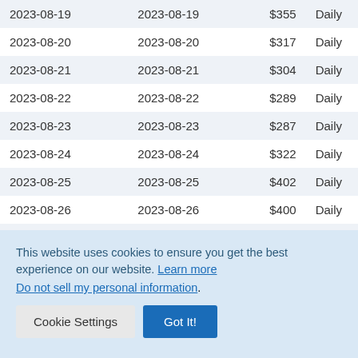| 2023-08-19 | 2023-08-19 | $355 | Daily |
| 2023-08-20 | 2023-08-20 | $317 | Daily |
| 2023-08-21 | 2023-08-21 | $304 | Daily |
| 2023-08-22 | 2023-08-22 | $289 | Daily |
| 2023-08-23 | 2023-08-23 | $287 | Daily |
| 2023-08-24 | 2023-08-24 | $322 | Daily |
| 2023-08-25 | 2023-08-25 | $402 | Daily |
| 2023-08-26 | 2023-08-26 | $400 | Daily |
| 2023-08-27 | 2023-08-27 | $316 | Daily |
This website uses cookies to ensure you get the best experience on our website. Learn more
Do not sell my personal information.